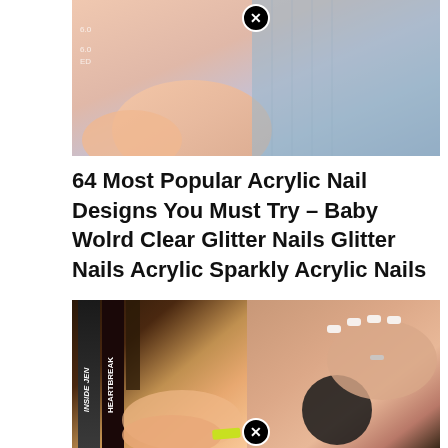[Figure (photo): Close-up photo of acrylic nails on fingers, showing pink/peach skin tones with light blue fabric in background. Has a black close/X button overlay at top center. Small camera indicator text visible on left side.]
64 Most Popular Acrylic Nail Designs You Must Try – Baby Wolrd Clear Glitter Nails Glitter Nails Acrylic Sparkly Acrylic Nails
[Figure (photo): Split photo showing nail art scenes: left side shows a hand with pink-tipped nails next to books titled 'Inside Jen' and 'Heartbreak', right side shows hands with white French-tip acrylic nails next to a dark round object and neon yellow marker. Has a black close/X button overlay at bottom center.]